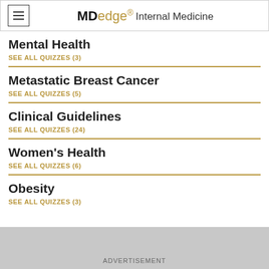MDedge Internal Medicine
Mental Health
SEE ALL QUIZZES (3)
Metastatic Breast Cancer
SEE ALL QUIZZES (5)
Clinical Guidelines
SEE ALL QUIZZES (24)
Women's Health
SEE ALL QUIZZES (6)
Obesity
SEE ALL QUIZZES (3)
ADVERTISEMENT